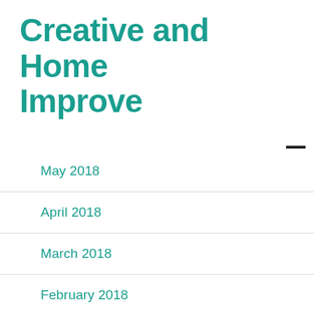Creative and Home Improve
May 2018
April 2018
March 2018
February 2018
January 2018
December 2017
November 2017
October 2017
August 2017
July 2017